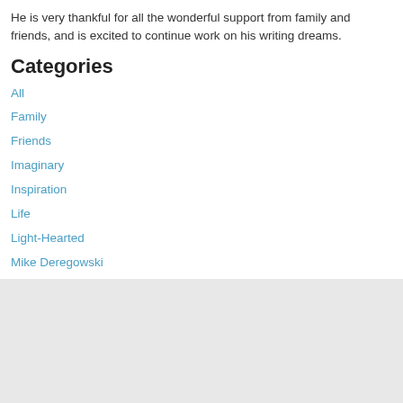He is very thankful for all the wonderful support from family and friends, and is excited to continue work on his writing dreams.
Categories
All
Family
Friends
Imaginary
Inspiration
Life
Light-Hearted
Mike Deregowski
Short Stories
RSS Feed